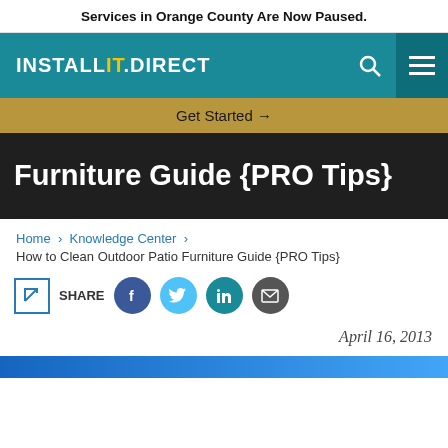Services in Orange County Are Now Paused.
[Figure (logo): InstallIt Direct logo in white text on teal navigation bar with search and menu icons]
Get Started →
Furniture Guide {PRO Tips}
Home › Knowledge Center › How to Clean Outdoor Patio Furniture Guide {PRO Tips}
[Figure (infographic): Share buttons row: share icon box, SHARE label, Facebook, Twitter, LinkedIn, Email social buttons]
April 16, 2013
[Figure (illustration): Blue gradient bar at bottom of page]